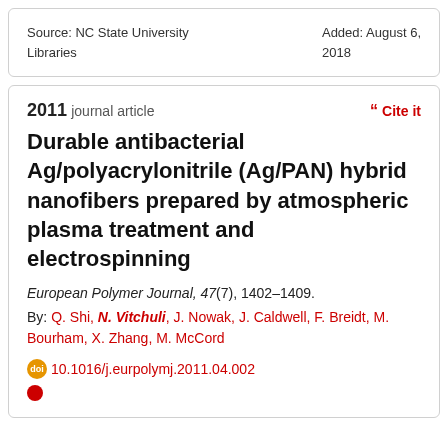Source: NC State University Libraries
Added: August 6, 2018
2011 journal article
Cite it
Durable antibacterial Ag/polyacrylonitrile (Ag/PAN) hybrid nanofibers prepared by atmospheric plasma treatment and electrospinning
European Polymer Journal, 47(7), 1402–1409.
By: Q. Shi, N. Vitchuli, J. Nowak, J. Caldwell, F. Breidt, M. Bourham, X. Zhang, M. McCord
10.1016/j.eurpolymj.2011.04.002